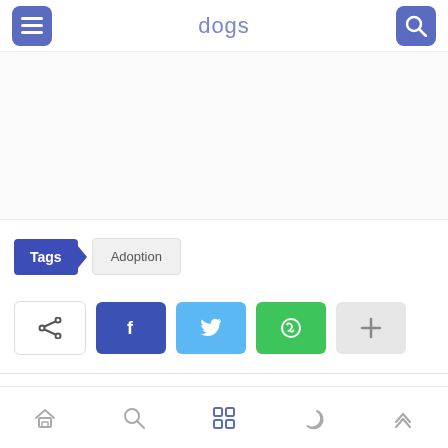dogs
[Figure (other): Empty image/content area]
Tags  Adoption
[Figure (other): Social share buttons: share icon, Facebook, Twitter, WhatsApp, more (+)]
Bottom navigation bar with home, search, grid, moon/night mode, and scroll-to-top icons